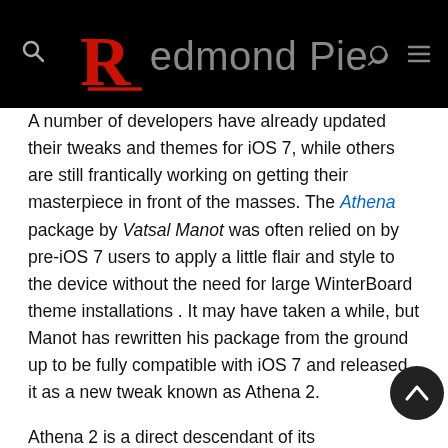Redmond Pie
A number of developers have already updated their tweaks and themes for iOS 7, while others are still frantically working on getting their masterpiece in front of the masses. The Athena package by Vatsal Manot was often relied on by pre-iOS 7 users to apply a little flair and style to the device without the need for large WinterBoard theme installations . It may have taken a while, but Manot has rewritten his package from the ground up to be fully compatible with iOS 7 and released it as a new tweak known as Athena 2.
Athena 2 is a direct descendant of its predecessor, and as such offers pretty much the same functionality that users are used to with the legacy version of the package. The tweak itself is generally intended to appeal to those with a jailbroken iPhone or iPad who want to make some subtle but eye-catching visual changes to the point of function...